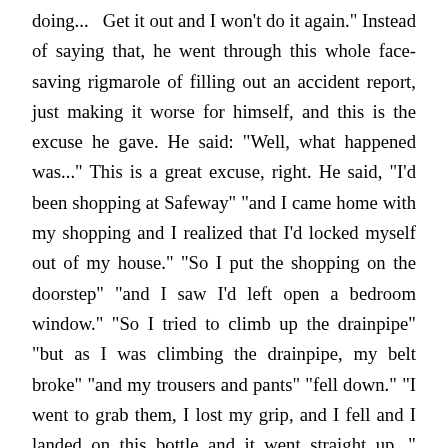doing...  Get it out and I won't do it again." Instead of saying that, he went through this whole face-saving rigmarole of filling out an accident report, just making it worse for himself, and this is the excuse he gave. He said: "Well, what happened was..." This is a great excuse, right. He said, "I'd been shopping at Safeway" "and I came home with my shopping and I realized that I'd locked myself out of my house." "So I put the shopping on the doorstep" "and I saw I'd left open a bedroom window." "So I tried to climb up the drainpipe" "but as I was climbing the drainpipe, my belt broke" "and my trousers and pants" "fell down." "I went to grab them, I lost my grip, and I fell and I landed on this bottle and it went straight up..." "And that's what happened." Ok, so, got it out for him. And